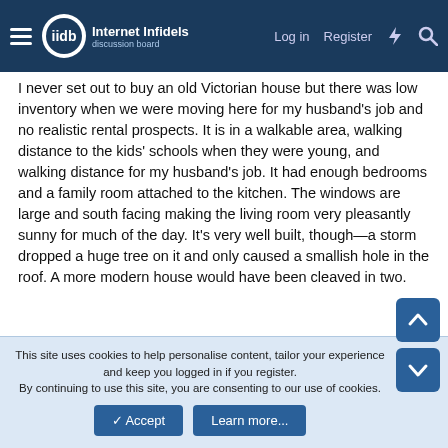Internet Infidels — Log in | Register
I never set out to buy an old Victorian house but there was low inventory when we were moving here for my husband's job and no realistic rental prospects. It is in a walkable area, walking distance to the kids' schools when they were young, and walking distance for my husband's job. It had enough bedrooms and a family room attached to the kitchen. The windows are large and south facing making the living room very pleasantly sunny for much of the day. It's very well built, though—a storm dropped a huge tree on it and only caused a smallish hole in the roof. A more modern house would have been cleaved in two.
I should tell you that $200K is probably a very minimal budget for renovating a Victorian. I didn't spend that all at once but over time, probably very near that amount.
This site uses cookies to help personalise content, tailor your experience and keep you logged in if you register.
By continuing to use this site, you are consenting to our use of cookies.